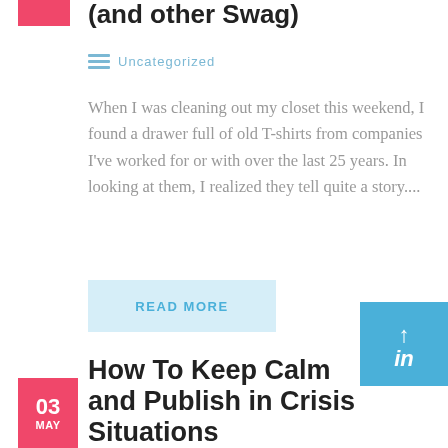(and other Swag)
Uncategorized
When I was cleaning out my closet this weekend, I found a drawer full of old T-shirts from companies I've worked for or with over the last 25 years. In looking at them, I realized they tell quite a story....
READ MORE
How To Keep Calm and Publish in Crisis Situations